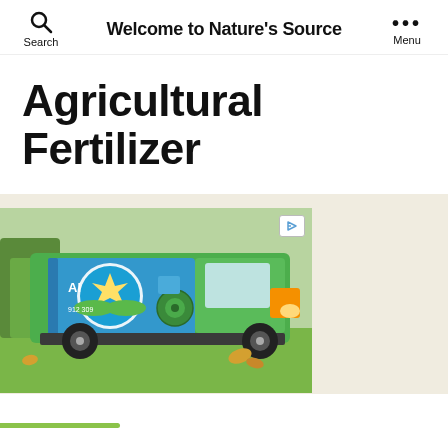Welcome to Nature's Source
Agricultural Fertilizer
[Figure (photo): A green and blue branded service van parked on grass with its side door open, showing equipment inside. A play button icon overlay is in the upper right of the image.]